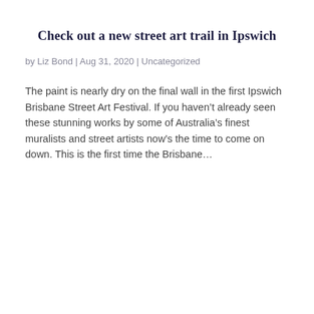Check out a new street art trail in Ipswich
by Liz Bond | Aug 31, 2020 | Uncategorized
The paint is nearly dry on the final wall in the first Ipswich Brisbane Street Art Festival. If you haven’t already seen these stunning works by some of Australia’s finest muralists and street artists now’s the time to come on down. This is the first time the Brisbane…